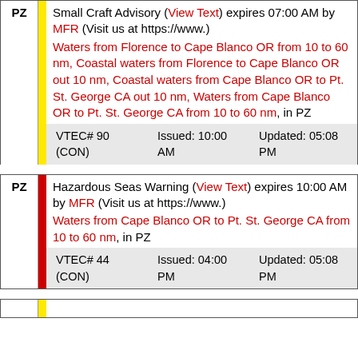PZ | Small Craft Advisory (View Text) expires 07:00 AM by MFR (Visit us at https://www.) Waters from Florence to Cape Blanco OR from 10 to 60 nm, Coastal waters from Florence to Cape Blanco OR out 10 nm, Coastal waters from Cape Blanco OR to Pt. St. George CA out 10 nm, Waters from Cape Blanco OR to Pt. St. George CA from 10 to 60 nm, in PZ | VTEC# 90 (CON) | Issued: 10:00 AM | Updated: 05:08 PM
PZ | Hazardous Seas Warning (View Text) expires 10:00 AM by MFR (Visit us at https://www.) Waters from Cape Blanco OR to Pt. St. George CA from 10 to 60 nm, in PZ | VTEC# 44 (CON) | Issued: 04:00 PM | Updated: 05:08 PM